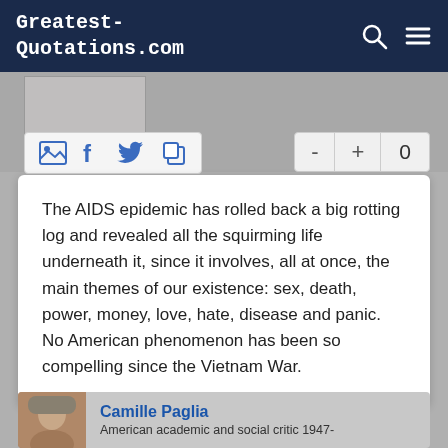Greatest-Quotations.com
The AIDS epidemic has rolled back a big rotting log and revealed all the squirming life underneath it, since it involves, all at once, the main themes of our existence: sex, death, power, money, love, hate, disease and panic. No American phenomenon has been so compelling since the Vietnam War.
Camille Paglia
American academic and social critic 1947-